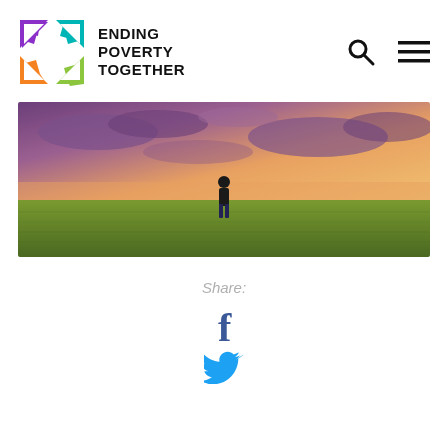[Figure (logo): Ending Poverty Together logo with colorful pinwheel icon and bold text]
[Figure (photo): A person standing alone in a green field under a dramatic purple and orange sunset sky]
Share:
[Figure (illustration): Facebook social share icon (f)]
[Figure (illustration): Twitter social share icon (bird)]